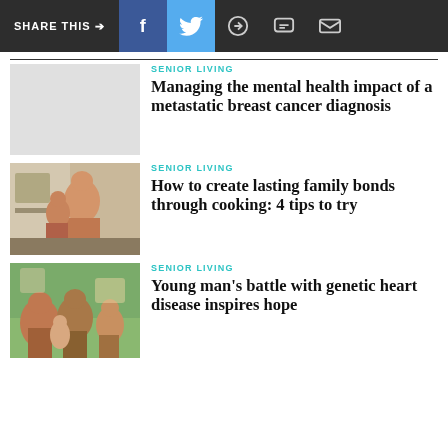SHARE THIS → f (Facebook) (Twitter) (WhatsApp) (Message) (Email)
[Figure (other): Gray placeholder thumbnail for first article]
SENIOR LIVING
Managing the mental health impact of a metastatic breast cancer diagnosis
[Figure (photo): Woman and child cooking together in kitchen]
SENIOR LIVING
How to create lasting family bonds through cooking: 4 tips to try
[Figure (photo): Family group outdoors with flowers in background]
SENIOR LIVING
Young man's battle with genetic heart disease inspires hope